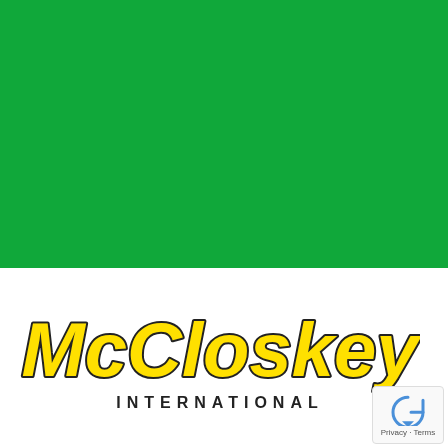[Figure (logo): McCloskey International logo — bold italic yellow letters with black outline reading 'McCloskey' on top and 'INTERNATIONAL' below in black spaced capitals, on a white background. Upper portion of the page is a solid green rectangle.]
Privacy · Terms